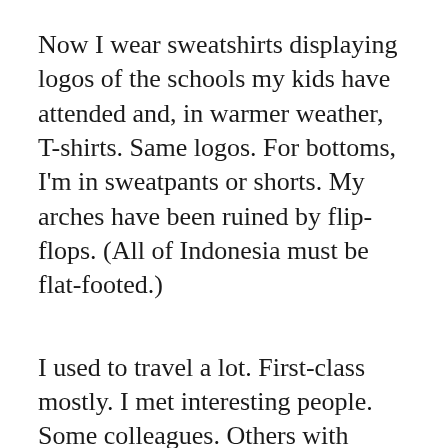Now I wear sweatshirts displaying logos of the schools my kids have attended and, in warmer weather, T-shirts. Same logos. For bottoms, I'm in sweatpants or shorts. My arches have been ruined by flip-flops. (All of Indonesia must be flat-footed.)
I used to travel a lot. First-class mostly. I met interesting people. Some colleagues. Others with problems it was my job to solve. Quite often, interesting problems. But I also lived with a knot in my stomach. I watched billable hours the way a compulsive gambler eyes the